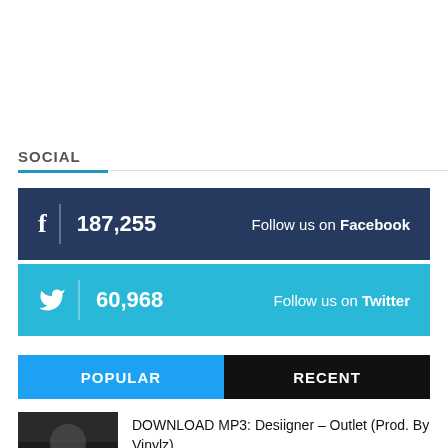SOCIAL
f | 187,255   Follow us on Facebook
🐦 | 60,968   Follow us on Twitter
POPULAR   RECENT
DOWNLOAD MP3: Desiigner – Outlet (Prod. By Vinylz)